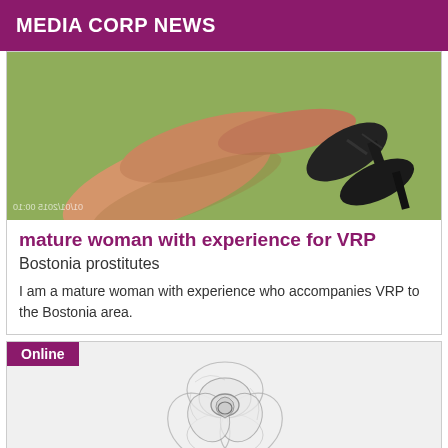MEDIA CORP NEWS
[Figure (photo): Photo of woman's legs with high heels on a green surface, with timestamp 01/01/2015 00:10]
mature woman with experience for VRP
Bostonia prostitutes
I am a mature woman with experience who accompanies VRP to the Bostonia area.
[Figure (illustration): Grayscale pencil sketch of a rose, with Online badge in purple at top left]